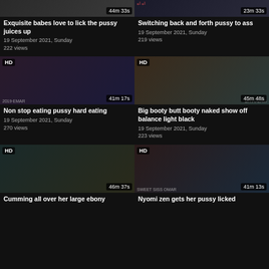[Figure (screenshot): Video thumbnail grid - top partial row showing two cropped thumbnails with durations 44m 33s and 23m 33s]
Exquisite babes love to lick the pussy juices up
19 September 2021, Sunday
222 views
Switching back and forth pussy to ass
19 September 2021, Sunday
219 views
[Figure (screenshot): HD video thumbnail - woman leaning over man, indoor scene, 41m 17s]
[Figure (screenshot): HD video thumbnail - woman close up, indoor scene with dice toy visible, 45m 48s]
Non stop eating pussy hard eating
19 September 2021, Sunday
270 views
Big booty butt booty naked show off balance light black
19 September 2021, Sunday
223 views
[Figure (screenshot): HD video thumbnail - close up intimate scene, 46m 37s]
[Figure (screenshot): HD video thumbnail - woman lying down, 41m 13s]
Cumming all over her large ebony
Nyomi zen gets her pussy licked